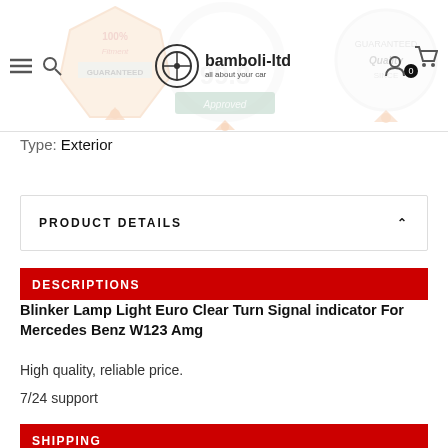bamboli-ltd — hamburger menu, search, logo, account, cart (0)
Type: Exterior
PRODUCT DETAILS
DESCRIPTIONS
Blinker Lamp Light Euro Clear Turn Signal indicator For Mercedes Benz W123 Amg
High quality, reliable price.
7/24 support
SHIPPING